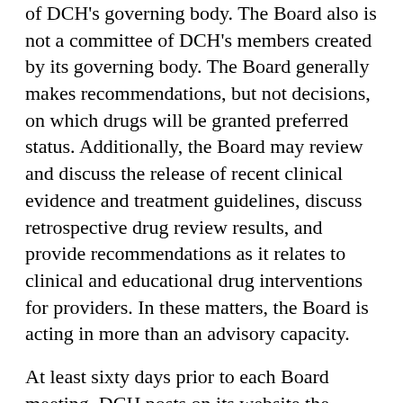of DCH's governing body. The Board also is not a committee of DCH's members created by its governing body. The Board generally makes recommendations, but not decisions, on which drugs will be granted preferred status. Additionally, the Board may review and discuss the release of recent clinical evidence and treatment guidelines, discuss retrospective drug review results, and provide recommendations as it relates to clinical and educational drug interventions for providers. In these matters, the Board is acting in more than an advisory capacity.
At least sixty days prior to each Board meeting, DCH posts on its website the medications and drug therapies which are under review and will be discussed at the upcoming Board meeting. Drug manufacturers may provide comments and input to SXC Health Solutions (“SXC”), DCH’s pharmacy benefits manager, through its vendor NorthStar HealthCare Consulting (“NHC”). SXC, in conjunction with NHC, hosts a manufacturer's forum at least thirty days prior to the Board meeting, during which manufacturers may also present to NHC...